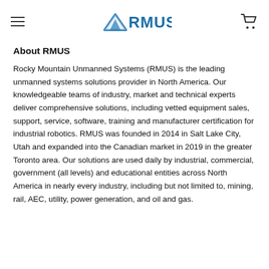RMUS — navigation header with hamburger menu and cart icon
About RMUS
Rocky Mountain Unmanned Systems (RMUS) is the leading unmanned systems solutions provider in North America. Our knowledgeable teams of industry, market and technical experts deliver comprehensive solutions, including vetted equipment sales, support, service, software, training and manufacturer certification for industrial robotics. RMUS was founded in 2014 in Salt Lake City, Utah and expanded into the Canadian market in 2019 in the greater Toronto area. Our solutions are used daily by industrial, commercial, government (all levels) and educational entities across North America in nearly every industry, including but not limited to, mining, rail, AEC, utility, power generation, and oil and gas.